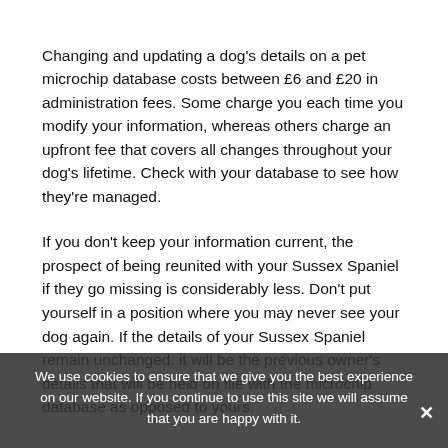Changing and updating a dog's details on a pet microchip database costs between £6 and £20 in administration fees. Some charge you each time you modify your information, whereas others charge an upfront fee that covers all changes throughout your dog's lifetime. Check with your database to see how they're managed.
If you don't keep your information current, the prospect of being reunited with your Sussex Spaniel if they go missing is considerably less. Don't put yourself in a position where you may never see your dog again. If the details of your Sussex Spaniel remain unchanged, it will be the previous owner's details that will be held on file with the microchip database as opposed to yours.
We use cookies to ensure that we give you the best experience on our website. If you continue to use this site we will assume that you are happy with it.